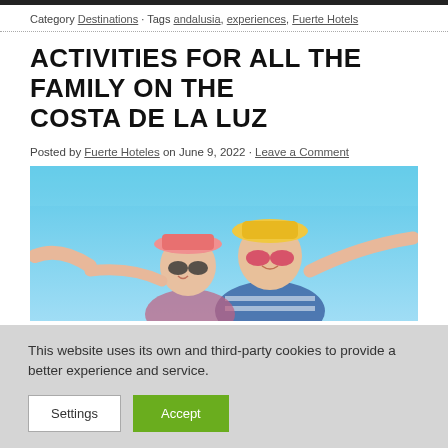Category Destinations · Tags andalusia, experiences, Fuerte Hotels
ACTIVITIES FOR ALL THE FAMILY ON THE COSTA DE LA LUZ
Posted by Fuerte Hoteles on June 9, 2022 · Leave a Comment
[Figure (photo): Two women wearing sunhats and sunglasses smiling with arms outstretched against a bright blue sky]
This website uses its own and third-party cookies to provide a better experience and service.
Settings  Accept